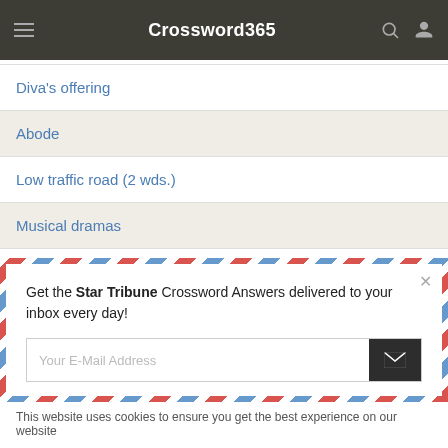Crossword365
Diva's offering
Abode
Low traffic road (2 wds.)
Musical dramas
Clairvoyant one
Get the Star Tribune Crossword Answers delivered to your inbox every day!
Your E-Mail Address
This website uses cookies to ensure you get the best experience on our website